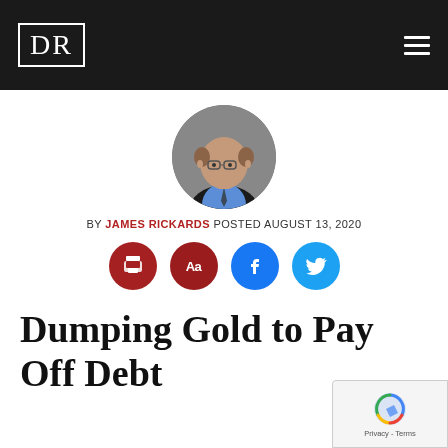DR
[Figure (photo): Circular headshot photo of James Rickards, a middle-aged balding man wearing glasses, a blue shirt and dark jacket, against a grey background.]
BY JAMES RICKARDS POSTED AUGUST 13, 2020
[Figure (infographic): Row of four circular social-sharing icon buttons: print (dark red), font size Aa (dark red), Facebook (blue), Twitter (light blue)]
Dumping Gold to Pay Off Debt